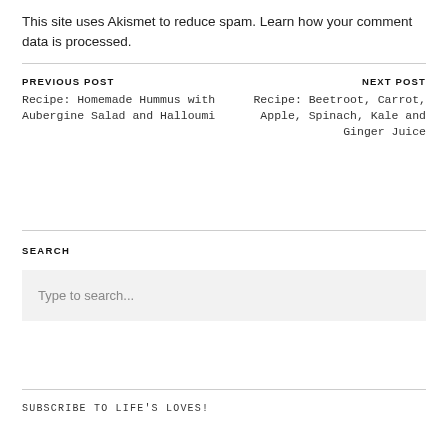This site uses Akismet to reduce spam. Learn how your comment data is processed.
PREVIOUS POST
Recipe: Homemade Hummus with Aubergine Salad and Halloumi
NEXT POST
Recipe: Beetroot, Carrot, Apple, Spinach, Kale and Ginger Juice
SEARCH
Type to search...
SUBSCRIBE TO LIFE'S LOVES!